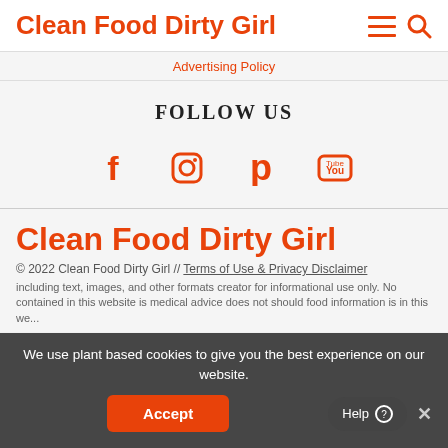Clean Food Dirty Girl
Advertising Policy
FOLLOW US
[Figure (infographic): Social media icons: Facebook, Instagram, Pinterest, YouTube in orange]
[Figure (logo): Clean Food Dirty Girl logo in orange cursive]
© 2022 Clean Food Dirty Girl // Terms of Use & Privacy Disclaimer
including text, images, and other formats creator for informational use only. No contained in this website is medical advice does not should food information is in this we...
We use plant based cookies to give you the best experience on our website.
Accept